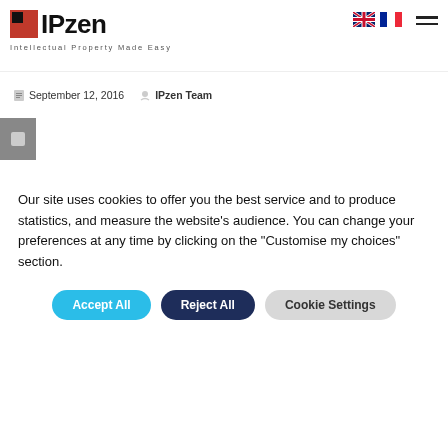IPzen — Intellectual Property Made Easy
September 12, 2016   IPzen Team
Our site uses cookies to offer you the best service and to produce statistics, and measure the website's audience. You can change your preferences at any time by clicking on the "Customise my choices" section.